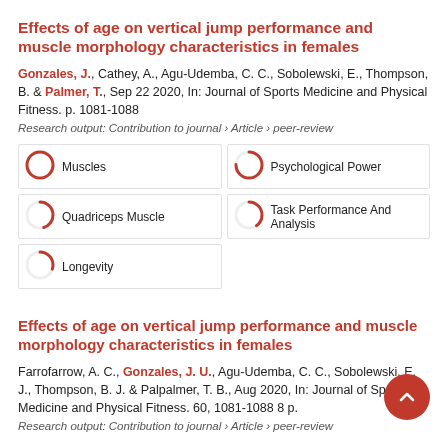Effects of age on vertical jump performance and muscle morphology characteristics in females
Gonzales, J., Cathey, A., Agu-Udemba, C. C., Sobolewski, E., Thompson, B. & Palmer, T., Sep 22 2020, In: Journal of Sports Medicine and Physical Fitness. p. 1081-1088
Research output: Contribution to journal › Article › peer-review
[Figure (infographic): Five keyword boxes in a 2-column grid with donut/pie icon indicators: Muscles (100%), Psychological Power (~75%), Quadriceps Muscle (~45%), Task Performance And Analysis (~40%), Longevity (~30%)]
Effects of age on vertical jump performance and muscle morphology characteristics in females
Farrofarrow, A. C., Gonzales, J. U., Agu-Udemba, C. C., Sobolewski, E. J., Thompson, B. J. & Palpalmer, T. B., Aug 2020, In: Journal of Sports Medicine and Physical Fitness. 60, 1081-1088 8 p.
Research output: Contribution to journal › Article › peer-review